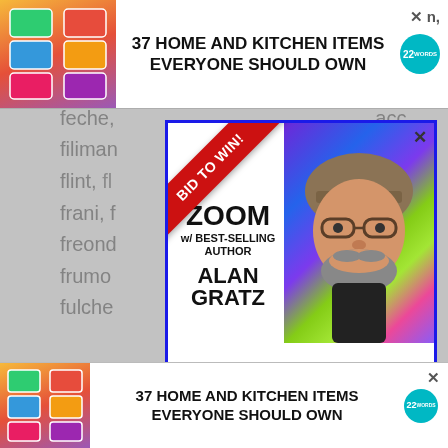[Figure (screenshot): Top banner advertisement: '37 HOME AND KITCHEN ITEMS EVERYONE SHOULD OWN' with colorful bag images on left and logo on right, with X close button]
euren, n,
ewen
fastrac
feche, acc,
filiman, ,
flint, fl
frani, f ric,
freond r,
frumo
fulche
[Figure (screenshot): Modal advertisement overlay: BID TO WIN! red ribbon, ZOOM w/ BEST-SELLING AUTHOR ALAN GRATZ, photo of man in hat, 'Meet him with your school, school district, or writer's group! Proceeds benefit TABC Book Drop (Writer's Cubed, a 501c3).']
We use relevant es and repeat visits. By clicking “Accept”, you consent to the use of ALL the cookies.
Do not sell my personal information.
[Figure (screenshot): CLOSE button (dark grey) and cookie settings interface at bottom]
[Figure (screenshot): Bottom banner advertisement: '37 HOME AND KITCHEN ITEMS EVERYONE SHOULD OWN' with colorful bag image and logo, X button]